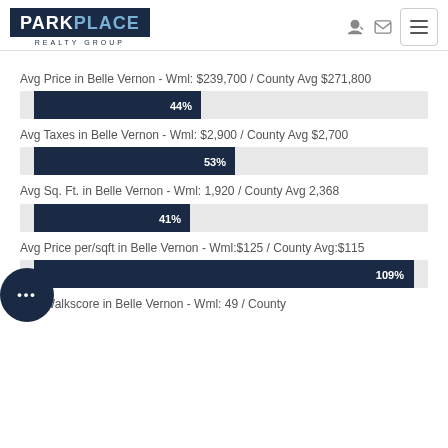[Figure (logo): Park Place Realty Group logo - dark navy box with white PARK and blue PLACE text]
Avg Price in Belle Vernon - Wml: $239,700 / County Avg $271,800
[Figure (bar-chart): Avg Price bar]
Avg Taxes in Belle Vernon - Wml: $2,900 / County Avg $2,700
[Figure (bar-chart): Avg Taxes bar]
Avg Sq. Ft. in Belle Vernon - Wml: 1,920 / County Avg 2,368
[Figure (bar-chart): Avg Sq Ft bar]
Avg Price per/sqft in Belle Vernon - Wml:$125 / County Avg:$115
[Figure (bar-chart): Avg Price per sqft bar]
Avg Walkscore in Belle Vernon - Wml: 49 / County